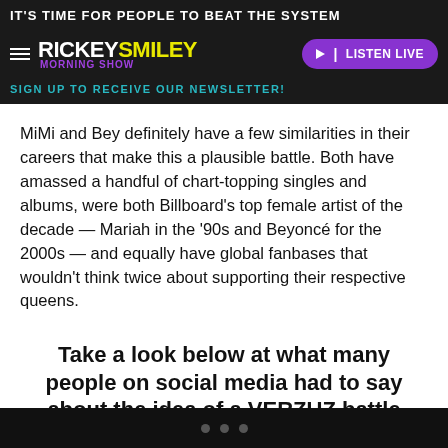IT'S TIME FOR PEOPLE TO BEAT THE SYSTEM
RICKEY SMILEY MORNING SHOW
SIGN UP TO RECEIVE OUR NEWSLETTER!
MiMi and Bey definitely have a few similarities in their careers that make this a plausible battle. Both have amassed a handful of chart-topping singles and albums, were both Billboard's top female artist of the decade — Mariah in the '90s and Beyoncé for the 2000s — and equally have global fanbases that wouldn't think twice about supporting their respective queens.
Take a look below at what many people on social media had to say about the idea of a VERZUZ battle between Beyoncé & Mariah Carey, and let us know what you think as well:
LATEST POSTS: